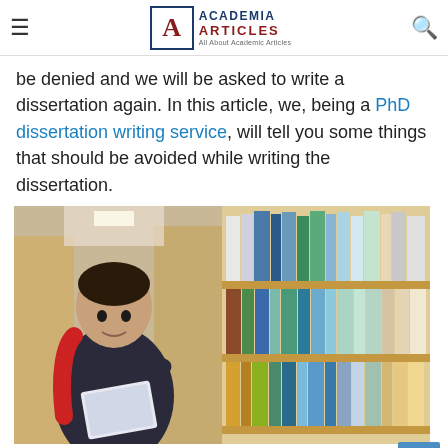ACADEMIA ARTICLES — All About Academic Articles
be denied and we will be asked to write a dissertation again. In this article, we, being a PhD dissertation writing service, will tell you some things that should be avoided while writing the dissertation.
[Figure (photo): Student in library reading a tablet/book, with bookshelf of colorful books on the right]
1) Sloppy errors